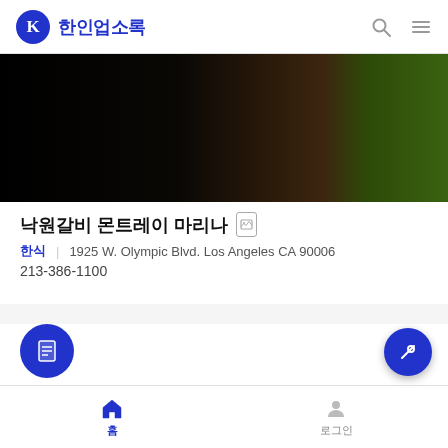K 한인업소록
[Figure (photo): Restaurant banner image showing dark wood texture on the left and green foliage on the right]
낙원갈비 몬트레이 마리나
한식 | 1925 W. Olympic Blvd. Los Angeles CA 90006
213-386-1100
[Figure (logo): Blue circle placeholder icon with document/page icon inside]
낙원갈비 몬트레이 마리나
맛집.음식 | 330 Reservation Rd #A Marina, CA 93933
831-883-2302
홈 | 로그인